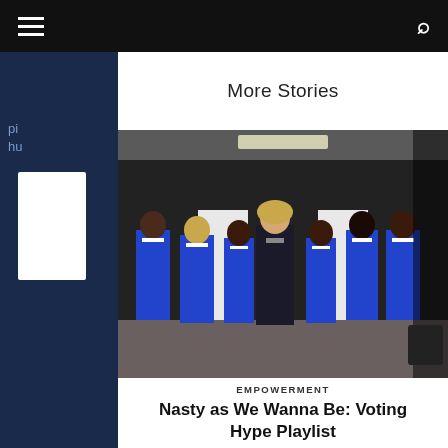More Stories
[Figure (photo): Group of seven women posing together; six wearing royal blue blazers and white shirts, one woman in center wearing a black patterned outfit, in what appears to be a backstage or event room]
EMPOWERMENT
Nasty as We Wanna Be: Voting Hype Playlist